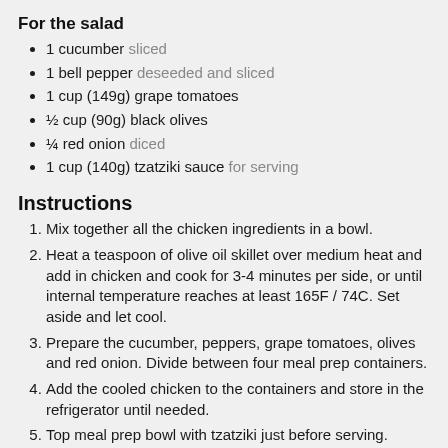For the salad
1 cucumber sliced
1 bell pepper deseeded and sliced
1 cup (149g) grape tomatoes
½ cup (90g) black olives
¼ red onion diced
1 cup (140g) tzatziki sauce for serving
Instructions
Mix together all the chicken ingredients in a bowl.
Heat a teaspoon of olive oil skillet over medium heat and add in chicken and cook for 3-4 minutes per side, or until internal temperature reaches at least 165F / 74C. Set aside and let cool.
Prepare the cucumber, peppers, grape tomatoes, olives and red onion. Divide between four meal prep containers.
Add the cooled chicken to the containers and store in the refrigerator until needed.
Top meal prep bowl with tzatziki just before serving.